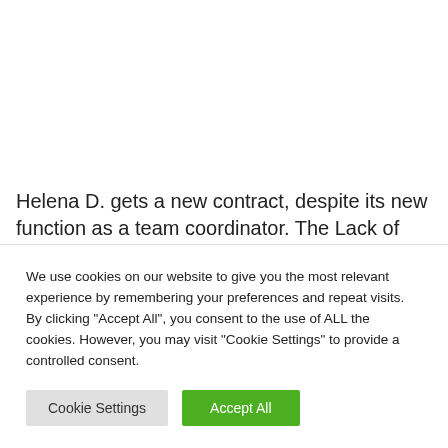Helena D. gets a new contract, despite its new function as a team coordinator. The Lack of clearly defined working conditions, and promotes the use of precarious work. Here is
We use cookies on our website to give you the most relevant experience by remembering your preferences and repeat visits. By clicking "Accept All", you consent to the use of ALL the cookies. However, you may visit "Cookie Settings" to provide a controlled consent.